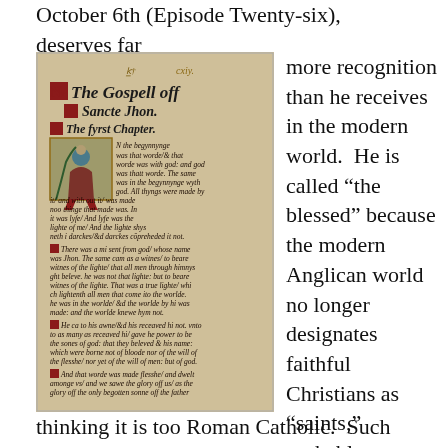October 6th (Episode Twenty-six), deserves far more recognition than he receives in the modern world.  He is called “the blessed” because the modern Anglican world no longer designates faithful Christians as “saints,” probably thinking it is too Roman Catholic.  Such denial of
[Figure (photo): A page from an early printed English Bible showing 'The Gospell off Sancte Jhon, The fyrst Chapter' with an illuminated initial and decorative text in blackletter script, with a small illustration of a figure in red robes.]
thinking it is too Roman Catholic.  Such denial of